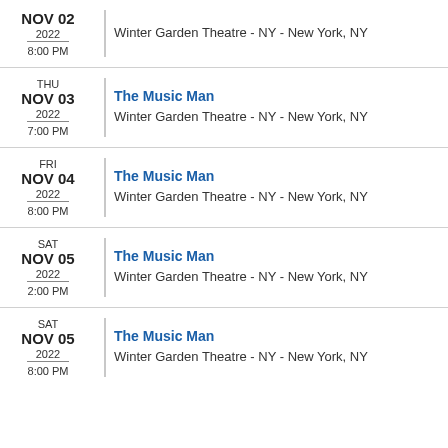NOV 02 2022 8:00 PM — Winter Garden Theatre - NY - New York, NY
The Music Man — THU NOV 03 2022 7:00 PM — Winter Garden Theatre - NY - New York, NY
The Music Man — FRI NOV 04 2022 8:00 PM — Winter Garden Theatre - NY - New York, NY
The Music Man — SAT NOV 05 2022 2:00 PM — Winter Garden Theatre - NY - New York, NY
The Music Man — SAT NOV 05 2022 8:00 PM — Winter Garden Theatre - NY - New York, NY